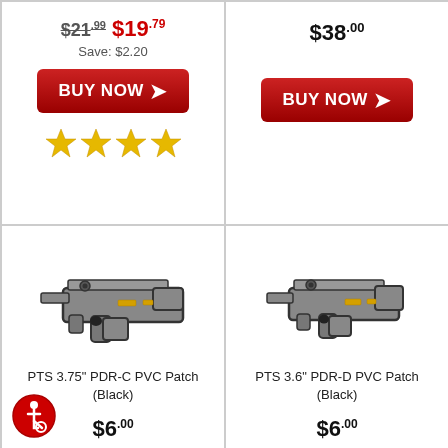$21.99  $19.79  Save: $2.20
BUY NOW
★★★★★
$38.00
BUY NOW
[Figure (illustration): PTS 3.75" PDR-C PVC Patch (Black) - a grey submachine gun / bullpup style firearm patch with yellow accents and black outline]
PTS 3.75" PDR-C PVC Patch (Black)
$6.00
[Figure (illustration): PTS 3.6" PDR-D PVC Patch (Black) - a grey compact bullpup firearm patch with yellow accents and dark outline]
PTS 3.6" PDR-D PVC Patch (Black)
$6.00